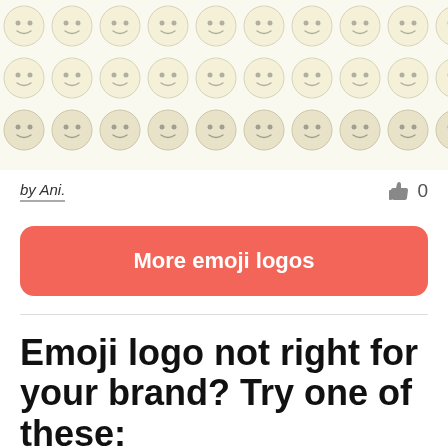[Figure (illustration): Grid of smiley face emoji icons on a cream/off-white background, arranged in 3 rows of 10 emoji each]
by Ani.
👍 0
More emoji logos
Emoji logo not right for your brand? Try one of these: